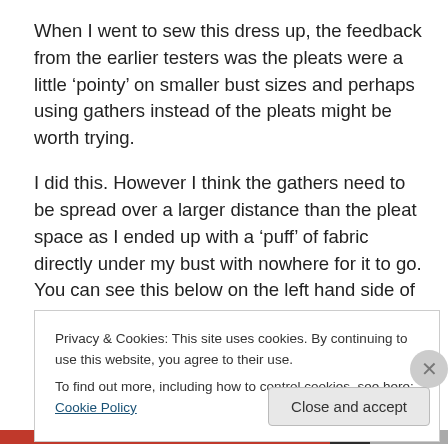When I went to sew this dress up, the feedback from the earlier testers was the pleats were a little ‘pointy’ on smaller bust sizes and perhaps using gathers instead of the pleats might be worth trying.
I did this. However I think the gathers need to be spread over a larger distance than the pleat space as I ended up with a ‘puff’ of fabric directly under my bust with nowhere for it to go. You can see this below on the left hand side of the image.
Privacy & Cookies: This site uses cookies. By continuing to use this website, you agree to their use.
To find out more, including how to control cookies, see here: Cookie Policy
Close and accept